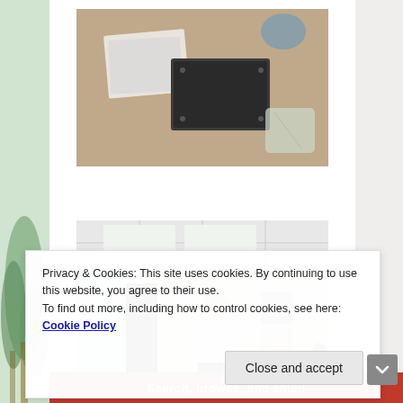[Figure (photo): Top photo showing items on carpet floor including papers, a dark rectangular board/panel, and plastic bags with small parts]
[Figure (photo): Photo of a man in a light blue shirt standing in an office/room, gesturing toward wall art consisting of four decorative square panels, with a dark dresser and plant visible to the right]
Privacy & Cookies: This site uses cookies. By continuing to use this website, you agree to their use.
To find out more, including how to control cookies, see here: Cookie Policy
Close and accept
Search, browse, and email